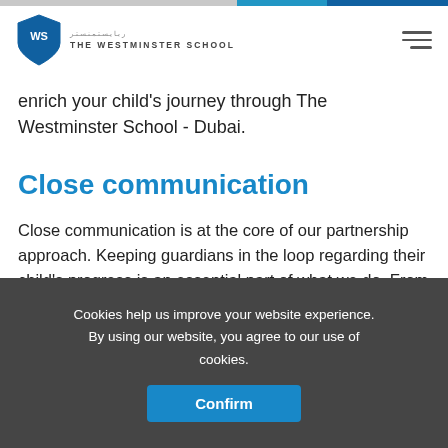THE WESTMINSTER SCHOOL
enrich your child's journey through The Westminster School - Dubai.
Close communication
Close communication is at the core of our partnership approach. Keeping guardians in the loop regarding their child's progress is an essential part of what we do. From consultation evenings and written reports, to an "open door" policy which ensures parents can speak with us at any stage, we keep those all-important channels of communication open. Make an appointment today to speak one-to-one with any member of our teaching staff in confidence.
Cookies help us improve your website experience. By using our website, you agree to our use of cookies.